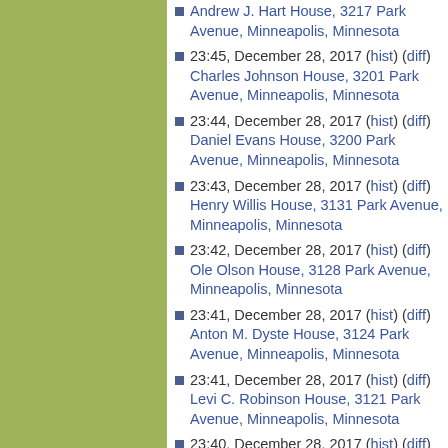Andrew J. Hart House, 3217 Park Avenue, Minneapolis, Minnesota
23:45, December 28, 2017 (hist) (diff) Charles Johnson House, 3201 Park Avenue, Minneapolis, Minnesota
23:44, December 28, 2017 (hist) (diff) Daniel Evans House, 3200 Park Avenue, Minneapolis, Minnesota
23:43, December 28, 2017 (hist) (diff) Henry Willis House, 3131 Park Avenue, Minneapolis, Minnesota
23:42, December 28, 2017 (hist) (diff) Ole Olson House, 3128 Park Avenue, Minneapolis, Minnesota
23:41, December 28, 2017 (hist) (diff) Anton M. Dyste House, 3124 Park Avenue, Minneapolis, Minnesota
23:41, December 28, 2017 (hist) (diff) Levi C. Robinson House, 3121 Park Avenue, Minneapolis, Minnesota
23:40, December 28, 2017 (hist) (diff) Thomas Hanson House, 3120 Park Avenue, Minneapolis, Minnesota